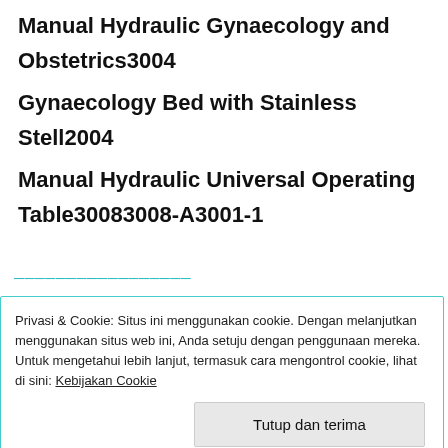Manual Hydraulic Gynaecology and Obstetrics3004
Gynaecology Bed with Stainless Stell2004
Manual Hydraulic Universal Operating Table30083008-A3001-1
Privasi & Cookie: Situs ini menggunakan cookie. Dengan melanjutkan menggunakan situs web ini, Anda setuju dengan penggunaan mereka. Untuk mengetahui lebih lanjut, termasuk cara mengontrol cookie, lihat di sini: Kebijakan Cookie
Tutup dan terima
MOBILE SUCTION PUMPS